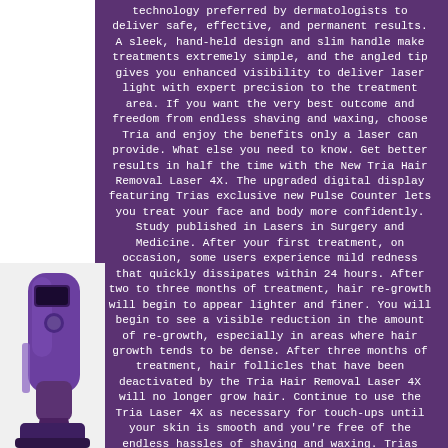technology preferred by dermatologists to deliver safe, effective, and permanent results. A sleek, hand-held design and slim handle make treatments extremely simple, and the angled tip gives you enhanced visibility to deliver laser light with expert precision to the treatment area. If you want the very best outcome and freedom from endless shaving and waxing, choose Tria and enjoy the benefits only a laser can provide. What else you need to know. Get better results in half the time with the New Tria Hair Removal Laser 4X. The upgraded digital display featuring Trias exclusive new Pulse Counter lets you treat your face and body more confidently. Study published in Lasers in Surgery and Medicine. After your first treatment, on occasion, some users experience mild redness that quickly dissipates within 24 hours. After two to three months of treatment, hair re-growth will begin to appear lighter and finer. You will begin to see a visible reduction in the amount of re-growth, especially in areas where hair growth tends to be dense. After three months of treatment, hair follicles that have been deactivated by the Tria Hair Removal Laser 4X will no longer grow hair. Continue to use the Tria Laser 4X as necessary for touch-ups until your skin is smooth and you're free of the endless hassles of shaving and waxing. Trias laser for hair removal with professional-level diode technology is the only at-home laser hair removal system to deliver truly permanent results. In clinical studies, after first month of use.
[Figure (photo): Purple Tria hair removal laser device shown in bottom left corner against white background]